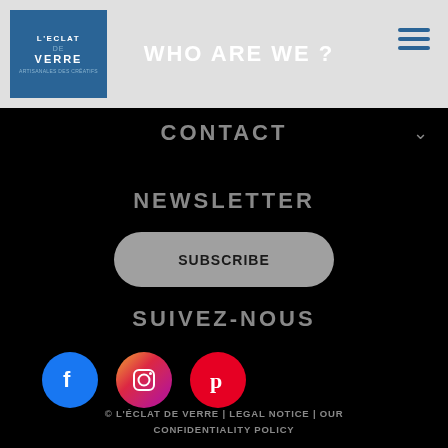WHO ARE WE ?
[Figure (logo): L'Éclat de Verre logo — white text on blue background]
CONTACT
NEWSLETTER
SUBSCRIBE
SUIVEZ-NOUS
[Figure (illustration): Social media icons: Facebook (blue circle), Instagram (gradient circle), Pinterest (red circle)]
© L'ÉCLAT DE VERRE | LEGAL NOTICE | OUR CONFIDENTIALITY POLICY